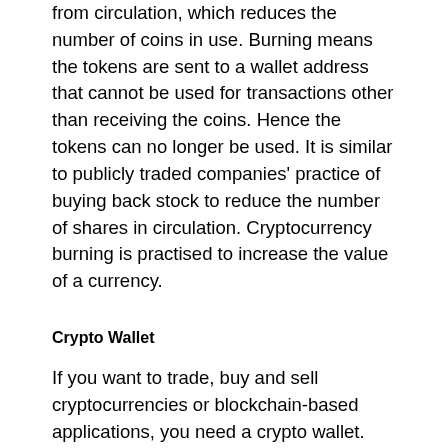from circulation, which reduces the number of coins in use. Burning means the tokens are sent to a wallet address that cannot be used for transactions other than receiving the coins. Hence the tokens can no longer be used. It is similar to publicly traded companies' practice of buying back stock to reduce the number of shares in circulation. Cryptocurrency burning is practised to increase the value of a currency.
Crypto Wallet
If you want to trade, buy and sell cryptocurrencies or blockchain-based applications, you need a crypto wallet. They